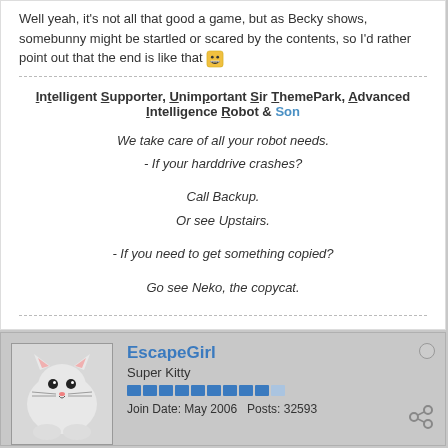Well yeah, it's not all that good a game, but as Becky shows, somebunny might be startled or scared by the contents, so I'd rather point out that the end is like that 😁
Intelligent Supporter, Unimportant Sir ThemePark, Advanced Intelligence Robot & Son
We take care of all your robot needs.
- If your harddrive crashes?

Call Backup.
Or see Upstairs.

- If you need to get something copied?

Go see Neko, the copycat.
EscapeGirl
Super Kitty
Join Date: May 2006  Posts: 32593